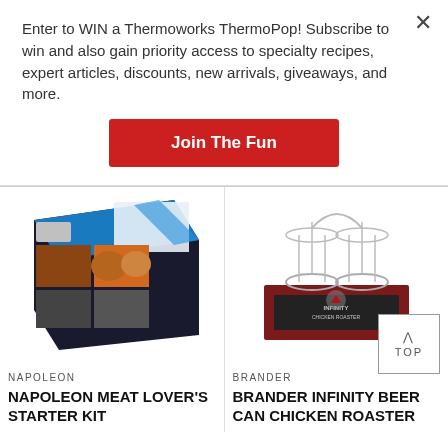Enter to WIN a Thermoworks ThermoPop! Subscribe to win and also gain priority access to specialty recipes, expert articles, discounts, new arrivals, giveaways, and more.
Join The Fun
[Figure (photo): Napoleon Meat Lover's Starter Kit product box showing grilled meats on the front]
[Figure (photo): Brander Infinity Beer Can Chicken Roaster product in its box, showing a metal wire rack with circular bases]
NAPOLEON
NAPOLEON MEAT LOVER'S STARTER KIT
BRANDER
BRANDER INFINITY BEER CAN CHICKEN ROASTER